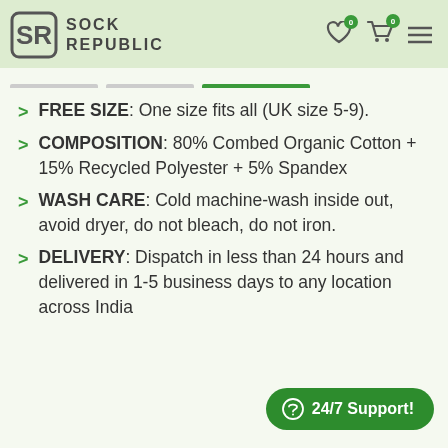SOCK REPUBLIC
FREE SIZE: One size fits all (UK size 5-9).
COMPOSITION: 80% Combed Organic Cotton + 15% Recycled Polyester + 5% Spandex
WASH CARE: Cold machine-wash inside out, avoid dryer, do not bleach, do not iron.
DELIVERY: Dispatch in less than 24 hours and delivered in 1-5 business days to any location across India
24/7 Support!